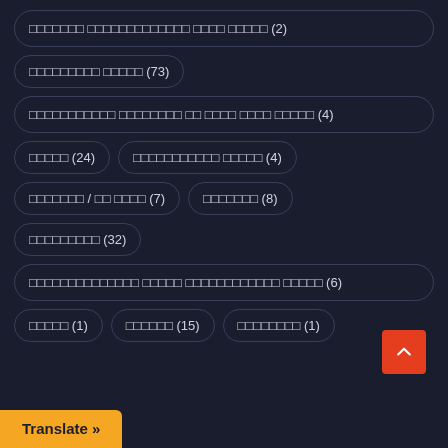□□□□□□□ □□□□□□□□□□□□□ □□□□ □□□□□ (2)
□□□□□□□□□ □□□□□ (73)
□□□□□□□□□□□ □□□□□□□□ □□ □□□□ □□□□ □□□□□ (4)
□□□□□ (24)
□□□□□□□□□□□ □□□□□ (4)
□□□□□□□ / □□ □□□□ (7)
□□□□□□□ (8)
□□□□□□□□□ (32)
□□□□□□□□□□□□□□ □□□□□ □□□□□□□□□□□□ □□□□□ (6)
□□□□□ (1)
□□□□□□ (15)
□□□□□□□□ (1)
Translate »